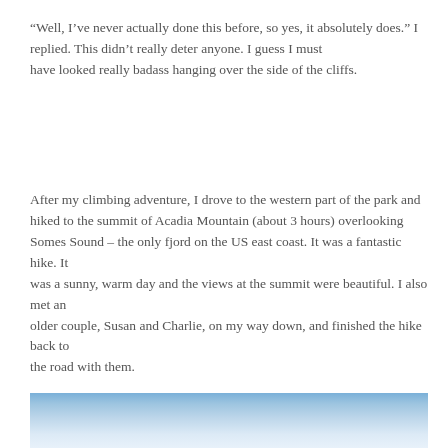“Well, I’ve never actually done this before, so yes, it absolutely does.” I replied. This didn’t really deter anyone. I guess I must have looked really badass hanging over the side of the cliffs.
After my climbing adventure, I drove to the western part of the park and hiked to the summit of Acadia Mountain (about 3 hours) overlooking Somes Sound – the only fjord on the US east coast. It was a fantastic hike. It was a sunny, warm day and the views at the summit were beautiful. I also met an older couple, Susan and Charlie, on my way down, and finished the hike back to the road with them.
[Figure (photo): Partial view of a sky and clouds photo, blue and white tones, bottom of the page]